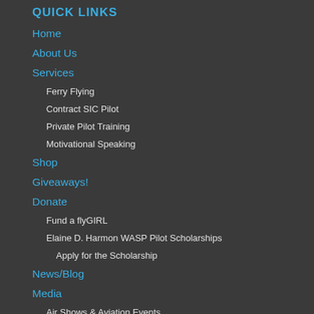QUICK LINKS
Home
About Us
Services
Ferry Flying
Contract SIC Pilot
Private Pilot Training
Motivational Speaking
Shop
Giveaways!
Donate
Fund a flyGIRL
Elaine D. Harmon WASP Pilot Scholarships
Apply for the Scholarship
News/Blog
Media
Air Shows & Aviation Events